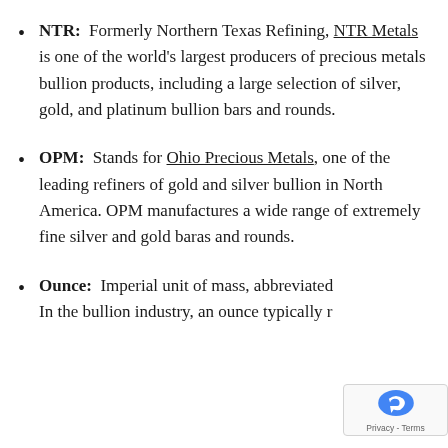NTR:  Formerly Northern Texas Refining, NTR Metals is one of the world's largest producers of precious metals bullion products, including a large selection of silver, gold, and platinum bullion bars and rounds.
OPM:  Stands for Ohio Precious Metals, one of the leading refiners of gold and silver bullion in North America. OPM manufactures a wide range of extremely fine silver and gold baras and rounds.
Ounce:  Imperial unit of mass, abbreviated  In the bullion industry, an ounce typically r